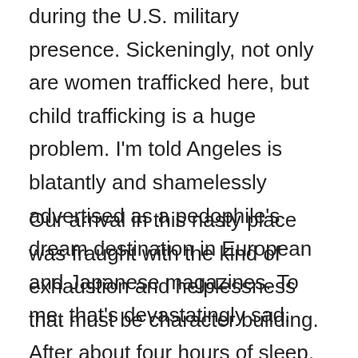during the U.S. military presence. Sickeningly, not only are women trafficked here, but child trafficking is a huge problem. I'm told Angeles is blatantly and shamelessly advertised as a pedophile's dream destination in European and Japanese magazines. To me, that's devastatingly sad.
Our arrival in this nasty place was fraught with the kind of exhaustion and helplessness that must be character building. After about four hours of sleep, we had woken to a 3:30 a.m. alarm. We got into a